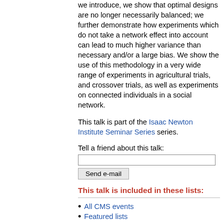we introduce, we show that optimal designs are no longer necessarily balanced; we further demonstrate how experiments which do not take a network effect into account can lead to much higher variance than necessary and/or a large bias. We show the use of this methodology in a very wide range of experiments in agricultural trials, and crossover trials, as well as experiments on connected individuals in a social network.
This talk is part of the Isaac Newton Institute Seminar Series series.
Tell a friend about this talk:
Send e-mail
This talk is included in these lists:
All CMS events
Featured lists